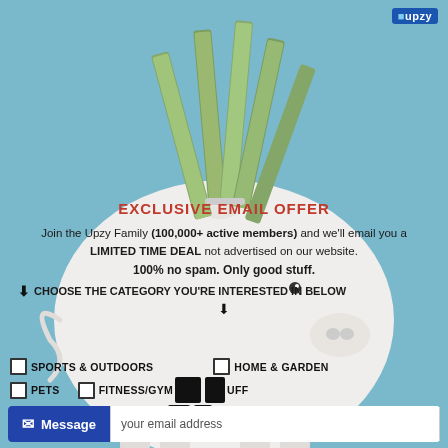[Figure (photo): Piggy bank with rolled dollar bills sticking out of the top, on a blue background]
[Figure (logo): Upzy logo in blue box, top right corner]
EXCLUSIVE EMAIL OFFER
Join the Upzy Family (100,000+ active members) and we'll email you a LIMITED TIME DEAL not advertised on our website. 100% no spam. Only good stuff.
↓ CHOOSE THE CATEGORY YOU'RE INTERESTED IN BELOW ↓
SPORTS & OUTDOORS
HOME & GARDEN
PETS
FITNESS/GYM STUFF
HEALTH/SPECIAL NEEDS
MUSIC
KIDS TOYS
Message   your email address